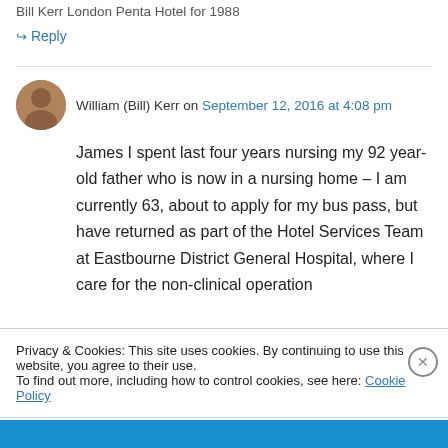Bill Kerr London Penta Hotel for 1988
↳ Reply
William (Bill) Kerr on September 12, 2016 at 4:08 pm
James I spent last four years nursing my 92 year-old father who is now in a nursing home – I am currently 63, about to apply for my bus pass, but have returned as part of the Hotel Services Team at Eastbourne District General Hospital, where I care for the non-clinical operation
Privacy & Cookies: This site uses cookies. By continuing to use this website, you agree to their use.
To find out more, including how to control cookies, see here: Cookie Policy
Close and accept